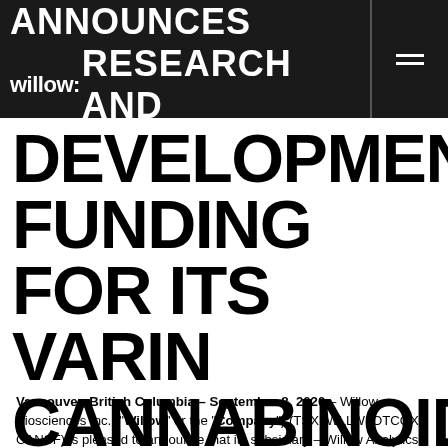ANNOUNCES RESEARCH AND
DEVELOPMENT FUNDING FOR ITS VARIN CANNABINOIDS
Vancouver, British Columbia – September 8, 2020 – Willow Biosciences Inc. ("Willow" or the "Company") (TSX: WLLW; OTCQX: CANSF) is pleased to announce that its subsidiary – Willow Analytics Inc. –